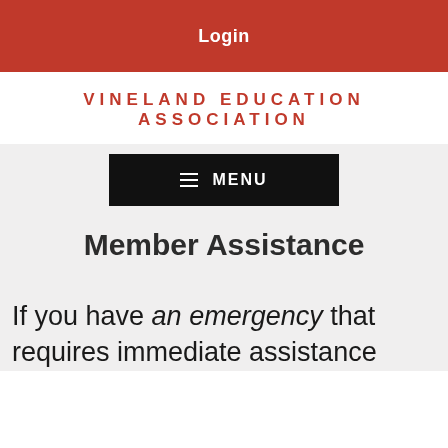Login
VINELAND EDUCATION ASSOCIATION
[Figure (other): Black menu button with hamburger icon and MENU text]
Member Assistance
If you have an emergency that requires immediate assistance